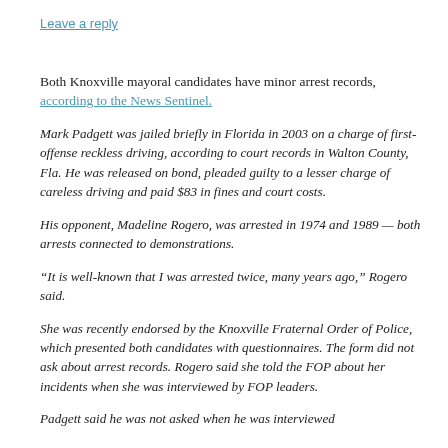Leave a reply
Both Knoxville mayoral candidates have minor arrest records, according to the News Sentinel.
Mark Padgett was jailed briefly in Florida in 2003 on a charge of first-offense reckless driving, according to court records in Walton County, Fla. He was released on bond, pleaded guilty to a lesser charge of careless driving and paid $83 in fines and court costs.
His opponent, Madeline Rogero, was arrested in 1974 and 1989 — both arrests connected to demonstrations.
“It is well-known that I was arrested twice, many years ago,” Rogero said.
She was recently endorsed by the Knoxville Fraternal Order of Police, which presented both candidates with questionnaires. The form did not ask about arrest records. Rogero said she told the FOP about her incidents when she was interviewed by FOP leaders.
Padgett said he was not asked when he was interviewed